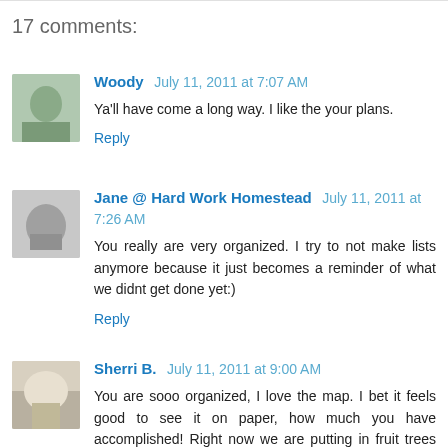17 comments:
Woody  July 11, 2011 at 7:07 AM
Ya'll have come a long way. I like the your plans.
Reply
Jane @ Hard Work Homestead  July 11, 2011 at 7:26 AM
You really are very organized. I try to not make lists anymore because it just becomes a reminder of what we didnt get done yet:)
Reply
Sherri B.  July 11, 2011 at 9:00 AM
You are sooo organized, I love the map. I bet it feels good to see it on paper, how much you have accomplished! Right now we are putting in fruit trees every year and are thinking of having more chickens in our flock.